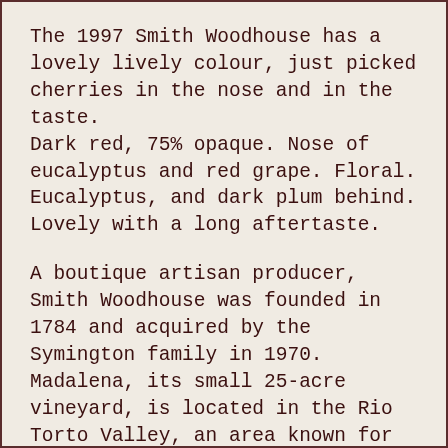The 1997 Smith Woodhouse has a lovely lively colour, just picked cherries in the nose and in the taste. Dark red, 75% opaque. Nose of eucalyptus and red grape. Floral. Eucalyptus, and dark plum behind. Lovely with a long aftertaste.
A boutique artisan producer, Smith Woodhouse was founded in 1784 and acquired by the Symington family in 1970. Madalena, its small 25-acre vineyard, is located in the Rio Torto Valley, an area known for having the highest concentration of top quality vineyards in Portugal's Douro Valley. Smith Woodhouse Ports have outstanding length and structure, are drier than